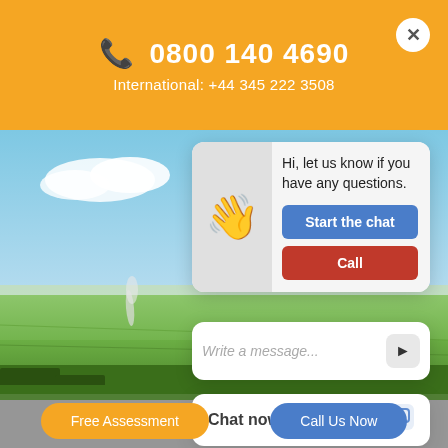📞 0800 140 4690
International: +44 345 222 3508
[Figure (photo): Aerial landscape photograph of green fields and countryside under a blue sky with clouds, smoke rising in the distance.]
Hi, let us know if you have any questions.
Start the chat
Call
Write a message...
Chat now
Free Assessment
Call Us Now